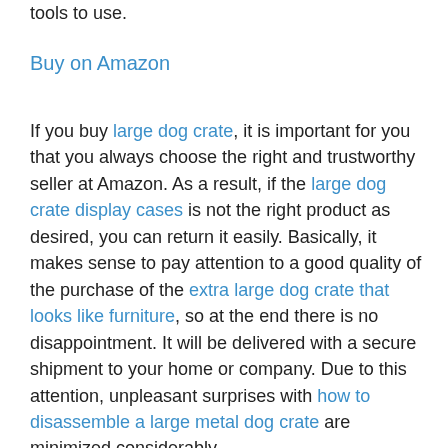tools to use.
Buy on Amazon
If you buy large dog crate, it is important for you that you always choose the right and trustworthy seller at Amazon. As a result, if the large dog crate display cases is not the right product as desired, you can return it easily. Basically, it makes sense to pay attention to a good quality of the purchase of the extra large dog crate that looks like furniture, so at the end there is no disappointment. It will be delivered with a secure shipment to your home or company. Due to this attention, unpleasant surprises with how to disassemble a large metal dog crate are minimized considerably.